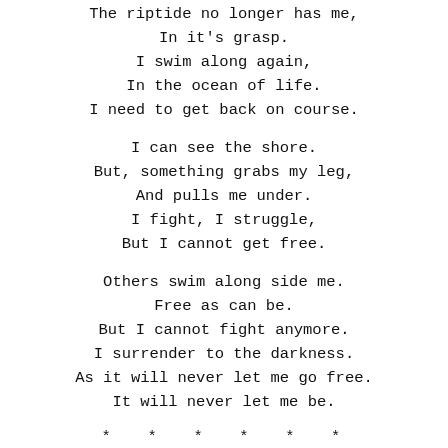The riptide no longer has me,
In it's grasp.
I swim along again,
In the ocean of life.
I need to get back on course.

I can see the shore.
But, something grabs my leg,
And pulls me under.
I fight, I struggle,
But I cannot get free.

Others swim along side me.
Free as can be.
But I cannot fight anymore.
I surrender to the darkness.
As it will never let me go free.
It will never let me be.
* * * * * *
Getting back to blogging has been harder than I expected. I'm mostly struggling on what to say. I don't want to burden anyone with my inner darkness, even though my therapist encourages me to share more of this